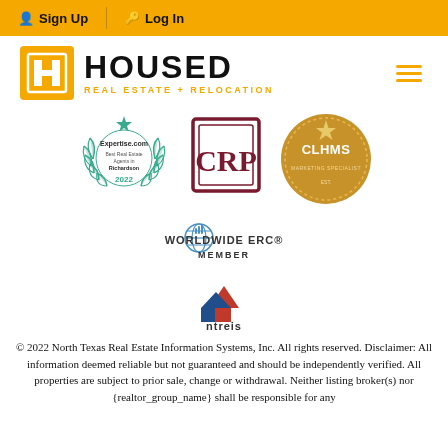Sign Up | Log In
[Figure (logo): HOUSED Real Estate + Relocation logo with orange H icon]
[Figure (logo): Expertise.com Best Real Estate Agents in Richardson 2022 badge]
[Figure (logo): CRP certification badge]
[Figure (logo): CLHMS certification badge]
[Figure (logo): Worldwide ERC Member logo]
[Figure (logo): NTREIS logo]
© 2022 North Texas Real Estate Information Systems, Inc. All rights reserved. Disclaimer: All information deemed reliable but not guaranteed and should be independently verified. All properties are subject to prior sale, change or withdrawal. Neither listing broker(s) nor {realtor_group_name} shall be responsible for any